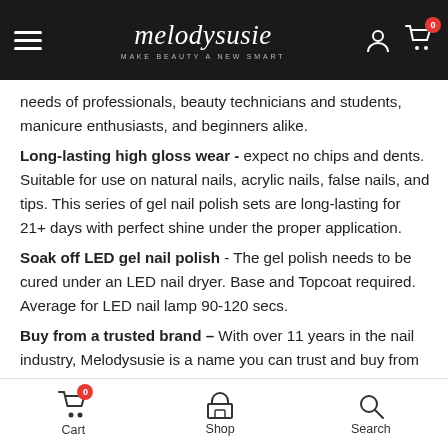melodysusie — MAKE BEAUTY A NEW SMART
needs of professionals, beauty technicians and students, manicure enthusiasts, and beginners alike.
Long-lasting high gloss wear - expect no chips and dents. Suitable for use on natural nails, acrylic nails, false nails, and tips. This series of gel nail polish sets are long-lasting for 21+ days with perfect shine under the proper application.
Soak off LED gel nail polish - The gel polish needs to be cured under an LED nail dryer. Base and Topcoat required. Average for LED nail lamp 90-120 secs.
Buy from a trusted brand – With over 11 years in the nail industry, Melodysusie is a name you can trust and buy from with confidence.
Cart  Shop  Search